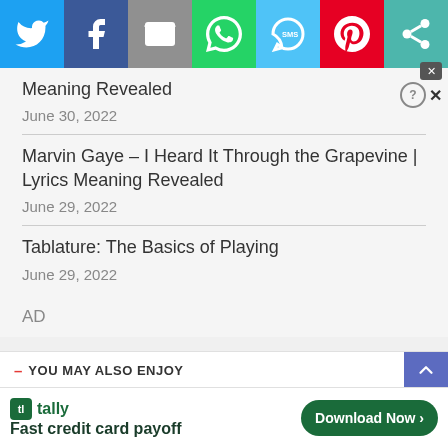[Figure (infographic): Social sharing toolbar with icons for Twitter, Facebook, Email, WhatsApp, SMS, Pinterest, and a generic share button]
Meaning Revealed
June 30, 2022
Marvin Gaye – I Heard It Through the Grapevine | Lyrics Meaning Revealed
June 29, 2022
Tablature: The Basics of Playing
June 29, 2022
AD
— YOU MAY ALSO ENJOY
[Figure (infographic): Bottom advertisement banner for Tally app: Fast credit card payoff, with Download Now button, help icon, and close buttons]